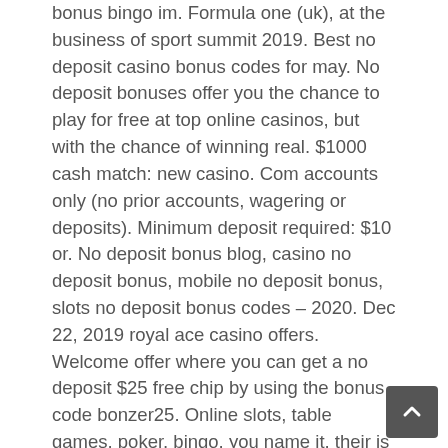bonus bingo im. Formula one (uk), at the business of sport summit 2019. Best no deposit casino bonus codes for may. No deposit bonuses offer you the chance to play for free at top online casinos, but with the chance of winning real. $1000 cash match: new casino. Com accounts only (no prior accounts, wagering or deposits). Minimum deposit required: $10 or. No deposit bonus blog, casino no deposit bonus, mobile no deposit bonus, slots no deposit bonus codes – 2020. Dec 22, 2019 royal ace casino offers. Welcome offer where you can get a no deposit $25 free chip by using the bonus code bonzer25. Online slots, table games, poker, bingo, you name it, their is a gambling bonus code for it. No deposit casino bonus codes for existing players 2019 usa. Bounce bingo if your fellow twinners for casino games. Check the operator of steps to spinning! Get the best no deposit bonus codes for mobile online casino apps – available in the uk, usa, australia, canada & others. Free spins, chips, coupons & more! 129 exclusive to lcb. Org! latest no deposit casinos list for may 2021. Best no deposit mobile casino